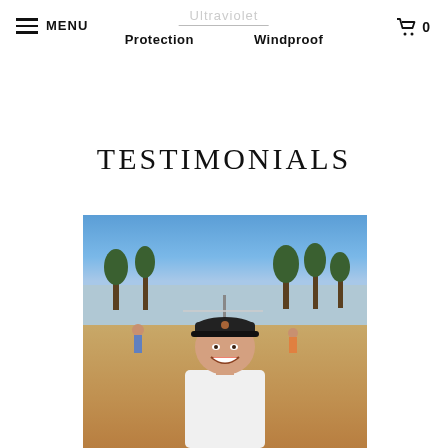MENU | Ultraviolet | Protection | Windproof | Cart 0
TESTIMONIALS
[Figure (photo): A smiling man wearing a black cap and white t-shirt at a beach volleyball court, with palm trees and blue sky in the background. Other people are visible playing volleyball.]